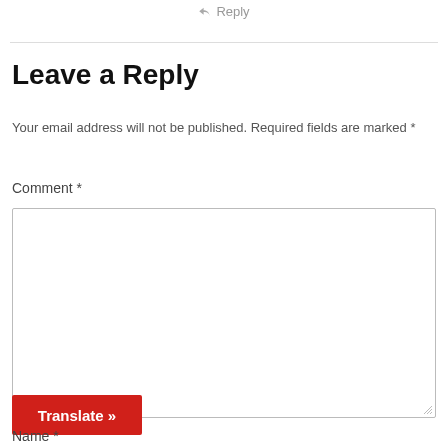Reply
Leave a Reply
Your email address will not be published. Required fields are marked *
Comment *
[Figure (other): Comment text area input box]
Translate »
Name *